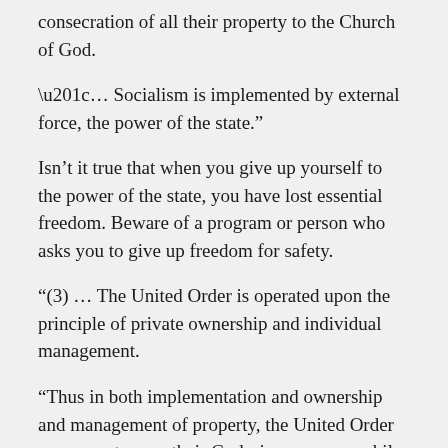consecration of all their property to the Church of God.
“… Socialism is implemented by external force, the power of the state.”
Isn’t it true that when you give up yourself to the power of the state, you have lost essential freedom. Beware of a program or person who asks you to give up freedom for safety.
“(3) … The United Order is operated upon the principle of private ownership and individual management.
“Thus in both implementation and ownership and management of property, the United Order preserves to men their God-given agency, while socialism deprives them of it.